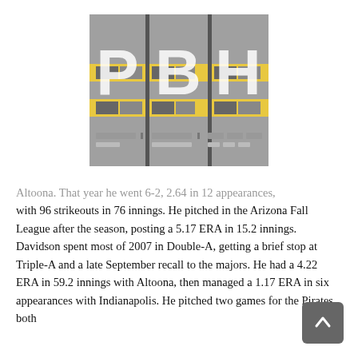[Figure (logo): PBH logo on gray background with yellow horizontal stripes. Letters P, B, H in large white text with player statistics panels beneath each letter.]
Altoona. That year he went 6-2, 2.64 in 12 appearances, with 96 strikeouts in 76 innings. He pitched in the Arizona Fall League after the season, posting a 5.17 ERA in 15.2 innings. Davidson spent most of 2007 in Double-A, getting a brief stop at Triple-A and a late September recall to the majors. He had a 4.22 ERA in 59.2 innings with Altoona, then managed a 1.17 ERA in six appearances with Indianapolis. He pitched two games for the Pirates, both